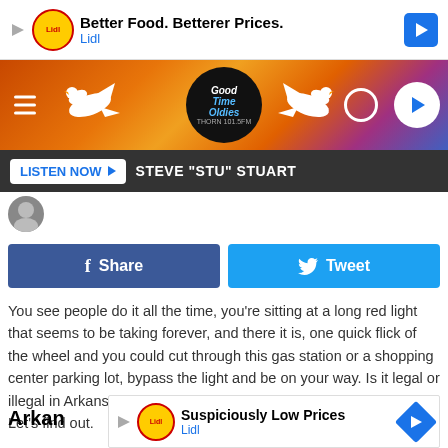[Figure (screenshot): Lidl advertisement banner: 'Better Food. Betterer Prices. Lidl']
[Figure (logo): Good Time Oldies radio station header banner with dove logos and play button]
LISTEN NOW ▶  STEVE "STU" STUART
[Figure (screenshot): Facebook Share and Twitter Tweet social sharing buttons]
You see people do it all the time, you're sitting at a long red light that seems to be taking forever, and there it is, one quick flick of the wheel and you could cut through this gas station or a shopping center parking lot, bypass the light and be on your way. Is it legal or illegal in Arkansas and Texas to do that? Can You get a ticket? Let's find out.
Arkan
[Figure (screenshot): Lidl advertisement: 'Suspiciously Low Prices. Lidl']